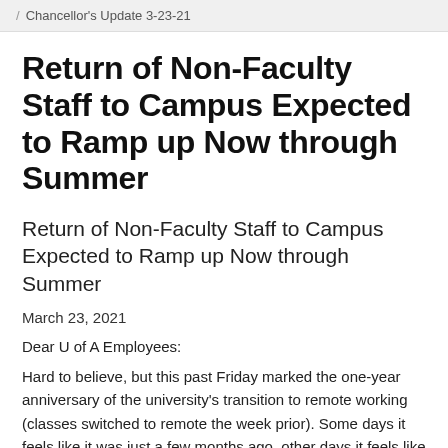/ Chancellor's Update 3-23-21
Return of Non-Faculty Staff to Campus Expected to Ramp up Now through Summer
Return of Non-Faculty Staff to Campus Expected to Ramp up Now through Summer
March 23, 2021
Dear U of A Employees:
Hard to believe, but this past Friday marked the one-year anniversary of the university's transition to remote working (classes switched to remote the week prior). Some days it feels like it was just a few months ago, other days it feels like a century ago. Either way, I